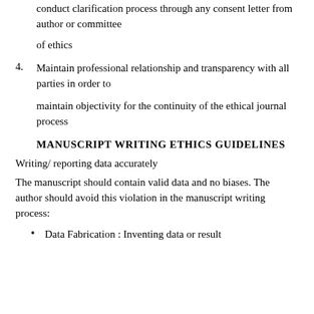conduct clarification process through any consent letter from author or committee
of ethics
4. Maintain professional relationship and transparency with all parties in order to
maintain objectivity for the continuity of the ethical journal process
MANUSCRIPT WRITING ETHICS GUIDELINES
Writing/ reporting data accurately
The manuscript should contain valid data and no biases. The author should avoid this violation in the manuscript writing process:
Data Fabrication : Inventing data or result